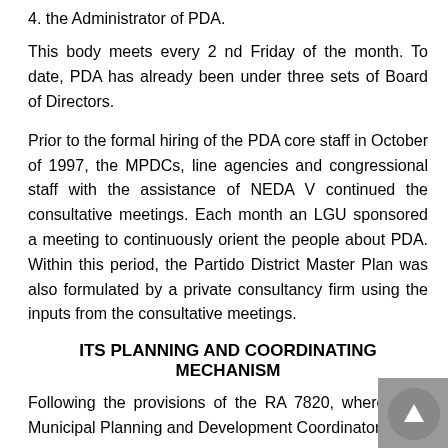4. the Administrator of PDA.
This body meets every 2 nd Friday of the month. To date, PDA has already been under three sets of Board of Directors.
Prior to the formal hiring of the PDA core staff in October of 1997, the MPDCs, line agencies and congressional staff with the assistance of NEDA V continued the consultative meetings. Each month an LGU sponsored a meeting to continuously orient the people about PDA. Within this period, the Partido District Master Plan was also formulated by a private consultancy firm using the inputs from the consultative meetings.
ITS PLANNING AND COORDINATING MECHANISM
Following the provisions of the RA 7820, wherein the Municipal Planning and Development Coordinators have